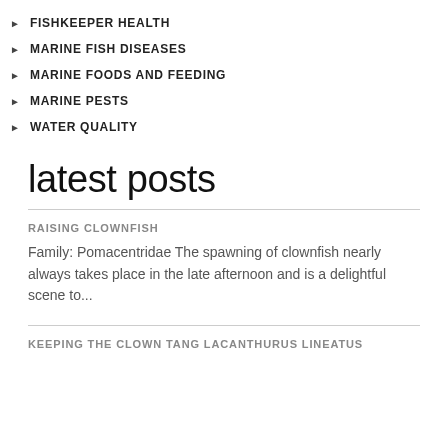FISHKEEPER HEALTH
MARINE FISH DISEASES
MARINE FOODS AND FEEDING
MARINE PESTS
WATER QUALITY
latest posts
RAISING CLOWNFISH
Family: Pomacentridae The spawning of clownfish nearly always takes place in the late afternoon and is a delightful scene to...
KEEPING THE CLOWN TANG LACANTHURUS LINEATUS